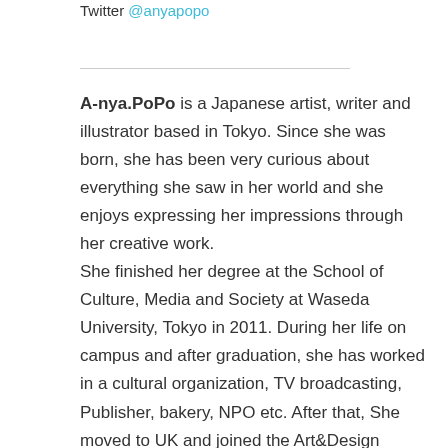Twitter @anyapopo
A-nya.PoPo is a Japanese artist, writer and illustrator based in Tokyo. Since she was born, she has been very curious about everything she saw in her world and she enjoys expressing her impressions through her creative work. She finished her degree at the School of Culture, Media and Society at Waseda University, Tokyo in 2011. During her life on campus and after graduation, she has worked in a cultural organization, TV broadcasting, Publisher, bakery, NPO etc. After that, She moved to UK and joined the Art&Design course at University of the Arts